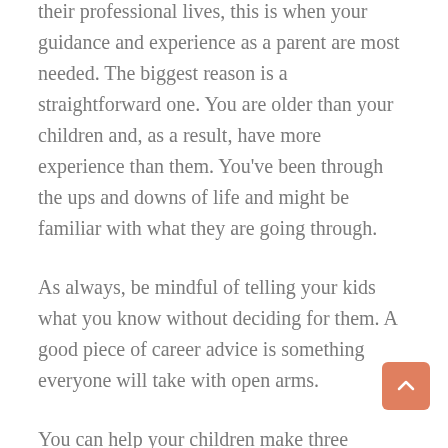their professional lives, this is when your guidance and experience as a parent are most needed. The biggest reason is a straightforward one. You are older than your children and, as a result, have more experience than them. You've been through the ups and downs of life and might be familiar with what they are going through.
As always, be mindful of telling your kids what you know without deciding for them. A good piece of career advice is something everyone will take with open arms.
You can help your children make three important decisions: where to study, who to marry, and whether to change their career or stay in the same position. If you do it right, your kids will not only thank you for it but also reap the resulting benefits for the remainder of their lives.